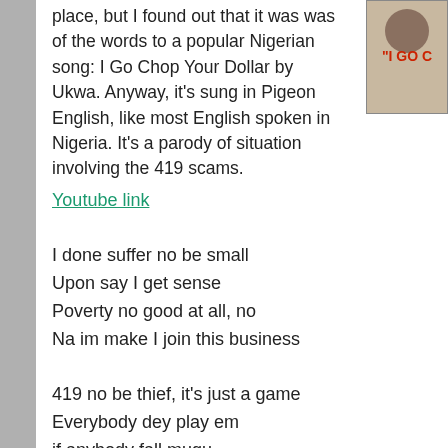place, but I found out that it was was of the words to a popular Nigerian song: I Go Chop Your Dollar by Ukwa. Anyway, it's sung in Pigeon English, like most English spoken in Nigeria. It's a parody of situation involving the 419 scams.
[Figure (photo): Thumbnail image of a person with text reading 'I GO' in red letters on what appears to be an album or video cover.]
Youtube link
I done suffer no be small
Upon say I get sense
Poverty no good at all, no
Na im make I join this business

419 no be thief, it's just a game
Everybody dey play em
if anybody fall mugu,
ha! my brother I go chop em

Chorus:
National Airport na me get em
National Stadium na me build em
President na my sister brother